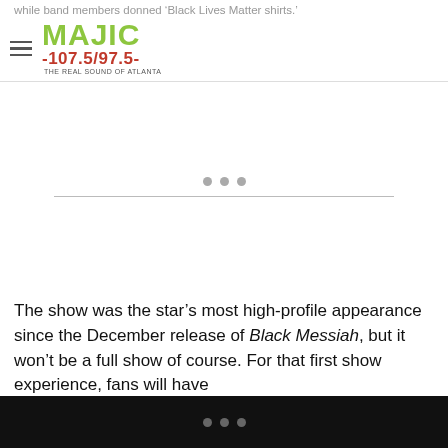while band members donned ‘Black Lives Matter shirts.’
[Figure (logo): Majic 107.5/97.5 - The Real Sound of Atlanta radio station logo with hamburger menu icon]
[Figure (other): Advertisement placeholder area with three dots and a horizontal divider line]
The show was the star’s most high-profile appearance since the December release of Black Messiah, but it won’t be a full show of course. For that first show experience, fans will have